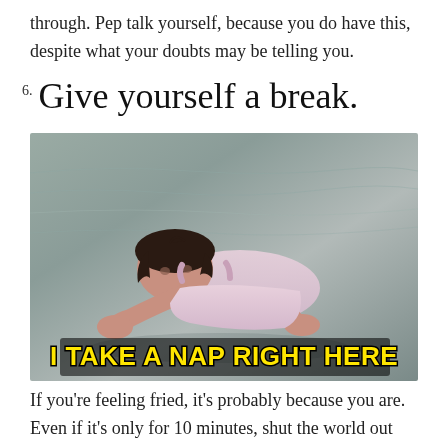through. Pep talk yourself, because you do have this, despite what your doubts may be telling you.
6. Give yourself a break.
[Figure (photo): A young girl crawling on wet sand at a beach, looking exhausted, with caption text 'I TAKE A NAP RIGHT HERE' in large yellow bold letters with black outline at the bottom of the image.]
If you're feeling fried, it's probably because you are. Even if it's only for 10 minutes, shut the world out and do nothing. Close your eyes